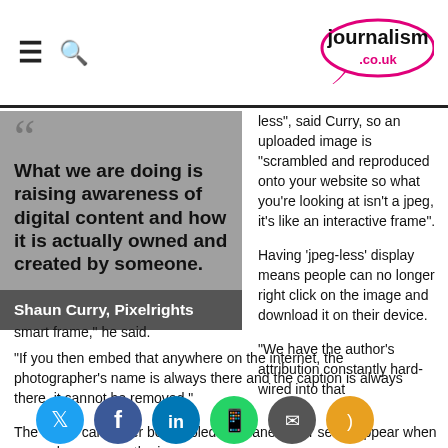journalism.co.uk
[Figure (logo): journalism.co.uk logo with speech bubble]
What we are doing is raising awareness of digital content and how it is actually owned and created by someone.
Shaun Curry, Pixelrights
less", said Curry, so an uploaded image is "scrambled and reproduced onto your website so what you're looking at isn't a jpeg, it's like an interactive frame".
Having 'jpeg-less' display means people can no longer right click on the image and download it on their device.
"We have the author's attribution constantly hard-wired into that smart frame," he said.
"If you then embed that anywhere on the internet, the photographer's name is always there and the caption is always there, it cannot be removed."
The frame can either be enabled permanently or set to appear when a user hovers over the image.
Pixelrights also encourages creators not to remove/discourage people from reproducing images without permission. Whenever someone